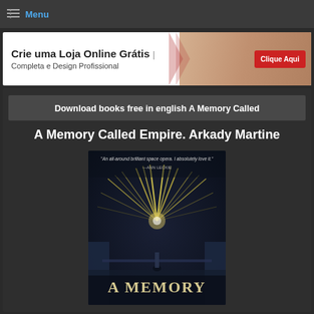Menu
[Figure (illustration): Advertisement banner: 'Crie uma Loja Online Grátis | Completa e Design Profissional' with a 'Clique Aqui' red button and a woman shopping image]
Download books free in english A Memory Called
A Memory Called Empire. Arkady Martine
[Figure (photo): Book cover of 'A Memory Called Empire' by Arkady Martine, showing a sci-fi scene with light beams and a quote from Ann Leckie: 'An all-around brilliant space opera. I absolutely love it.' The title 'A MEMORY' is visible at the bottom.]